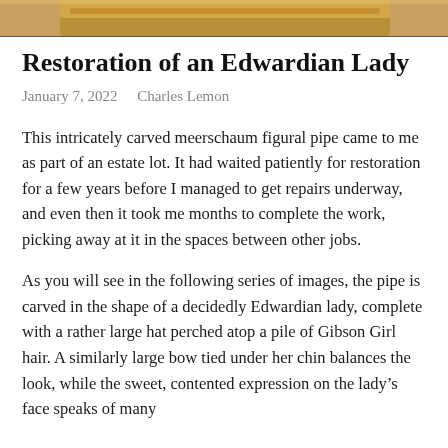[Figure (photo): Top portion of a carved meerschaum figural pipe showing a wooden/amber stem or bowl, cropped at the top of the page.]
Restoration of an Edwardian Lady
January 7, 2022   Charles Lemon
This intricately carved meerschaum figural pipe came to me as part of an estate lot. It had waited patiently for restoration for a few years before I managed to get repairs underway, and even then it took me months to complete the work, picking away at it in the spaces between other jobs.
As you will see in the following series of images, the pipe is carved in the shape of a decidedly Edwardian lady, complete with a rather large hat perched atop a pile of Gibson Girl hair. A similarly large bow tied under her chin balances the look, while the sweet, contented expression on the lady’s face speaks of many